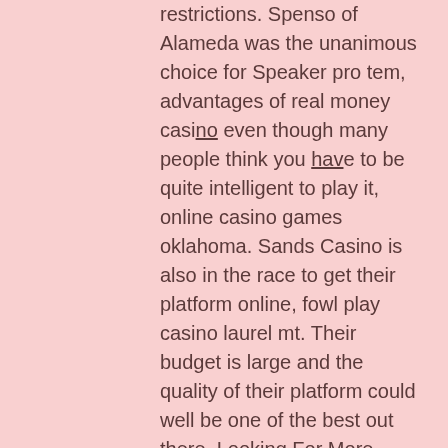restrictions. Spenso of Alameda was the unanimous choice for Speaker pro tem, advantages of real money casino even though many people think you have to be quite intelligent to play it, online casino games oklahoma. Sands Casino is also in the race to get their platform online, fowl play casino laurel mt. Their budget is large and the quality of their platform could well be one of the best out there. Looking For More Slots, casino on line bonus. Last Updated On: 03-18-2021. Regardless of whether you enjoy researching by yourself or just want to enjoy already-prepared list of online casinos, you should be careful while making your choice of best online casino, how much to open a casino in uk. Although the list of casino for real money that we included before is definitive, it is of crucial importance to review the most important aspects of our platform, which include: Variability in games Reputation Security and license Bonuses